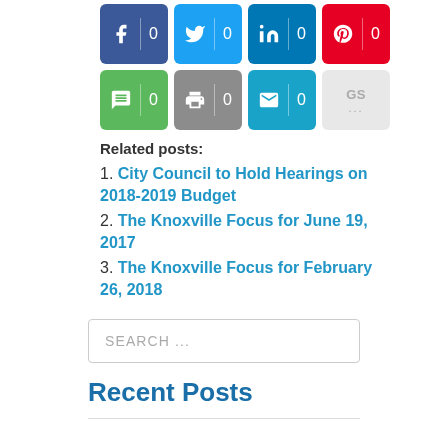[Figure (other): Social share buttons row 1: Facebook (0), Twitter (0), LinkedIn (0), Pinterest (0)]
[Figure (other): Social share buttons row 2: SMS (0), Print (0), Email (0), GS (...)]
Related posts:
1. City Council to Hold Hearings on 2018-2019 Budget
2. The Knoxville Focus for June 19, 2017
3. The Knoxville Focus for February 26, 2018
SEARCH ...
Recent Posts